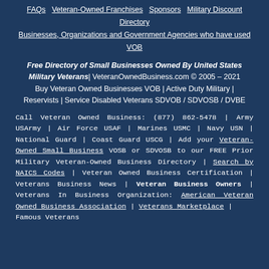FAQs | Veteran-Owned Franchises | Sponsors | Military Discount Directory | Businesses, Organizations and Government Agencies who have used VOB
Free Directory of Small Businesses Owned By United States Military Veterans | VeteranOwnedBusiness.com © 2005 – 2021 Buy Veteran Owned Businesses VOB | Active Duty Military | Reservists | Service Disabled Veterans SDVOB / SDVOSB / DVBE
Call Veteran Owned Business: (877) 862-5478 | Army USArmy | Air Force USAF | Marines USMC | Navy USN | National Guard | Coast Guard USCG | Add your Veteran-Owned Small Business VOSB or SDVOSB to our FREE Prior Military Veteran-Owned Business Directory | Search by NAICS Codes | Veteran Owned Business Certification | Veterans Business News | Veteran Business Owners | Veterans In Business Organization: American Veteran Owned Business Association | Veterans Marketplace | Famous Veterans